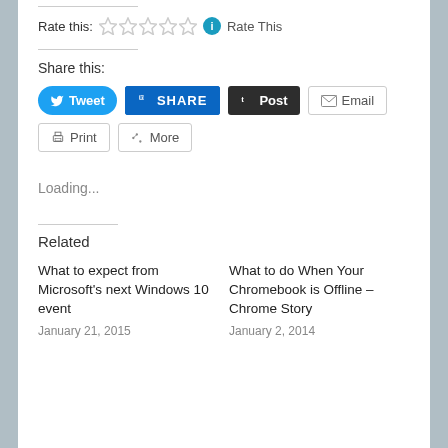Rate this: ☆☆☆☆☆ ℹ Rate This
Share this:
[Figure (screenshot): Social share buttons: Tweet (blue, rounded), SHARE (LinkedIn blue), Post (Tumblr dark), Email (outlined), Print (outlined), More (outlined)]
Loading...
Related
What to expect from Microsoft's next Windows 10 event
January 21, 2015
What to do When Your Chromebook is Offline – Chrome Story
January 2, 2014